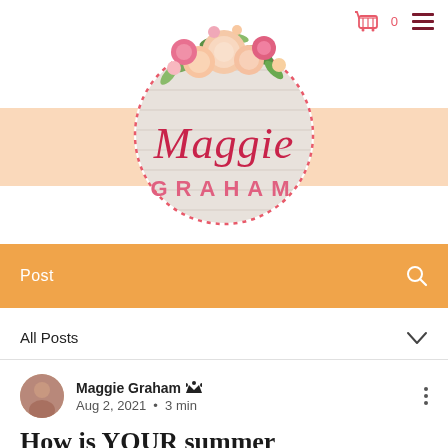[Figure (logo): Maggie Graham brand logo: circular badge with dotted pink border, script 'Maggie' in pink cursive and 'GRAHAM' in pink serif capitals, light wood-plank background, topped with a floral arrangement of peonies, roses, and greenery. A peach horizontal band spans behind the logo.]
Post
All Posts
Maggie Graham  Aug 2, 2021  •  3 min
How is YOUR summer